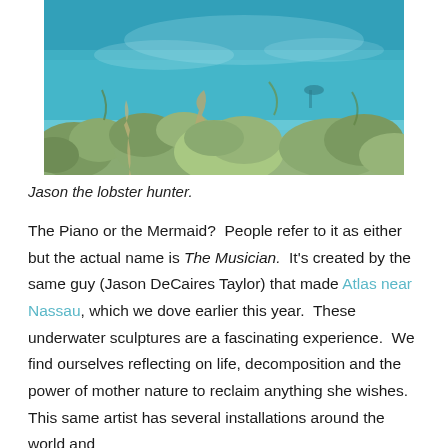[Figure (photo): Underwater photo of a coral reef scene with green algae, coral formations, and clear blue-teal water. A person (Jason) hunting lobster is visible in the background.]
Jason the lobster hunter.
The Piano or the Mermaid?  People refer to it as either but the actual name is The Musician.  It's created by the same guy (Jason DeCaires Taylor) that made Atlas near Nassau, which we dove earlier this year.  These underwater sculptures are a fascinating experience.  We find ourselves reflecting on life, decomposition and the power of mother nature to reclaim anything she wishes.  This same artist has several installations around the world and